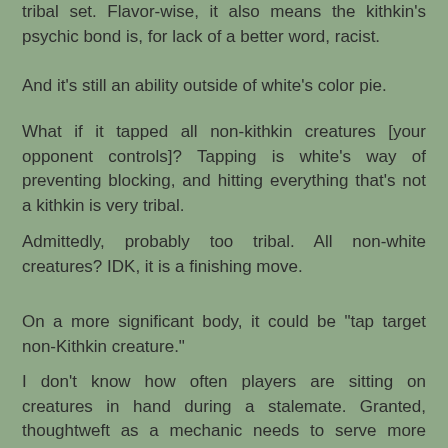tribal set. Flavor-wise, it also means the kithkin's psychic bond is, for lack of a better word, racist.
And it's still an ability outside of white's color pie.
What if it tapped all non-kithkin creatures [your opponent controls]? Tapping is white's way of preventing blocking, and hitting everything that's not a kithkin is very tribal.
Admittedly, probably too tribal. All non-white creatures? IDK, it is a finishing move.
On a more significant body, it could be "tap target non-Kithkin creature."
I don't know how often players are sitting on creatures in hand during a stalemate. Granted, thoughtweft as a mechanic needs to serve more purposes, but this card in particular is supposed to be all about breaking stalemates.